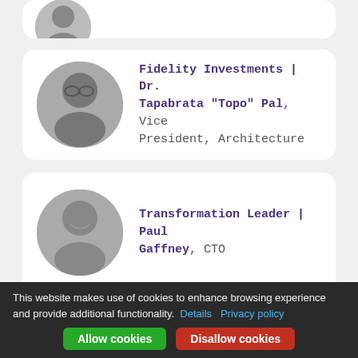[Figure (photo): Partial card at top with a photo, cropped]
Fidelity Investments | Dr. Tapabrata "Topo" Pal, Vice President, Architecture
Transformation Leader | Paul Gaffney, CTO
[Figure (photo): Partial card at bottom with a photo, cropped, cookie banner overlapping]
This website makes use of cookies to enhance browsing experience and provide additional functionality. Details Privacy policy
Allow cookies
Disallow cookies